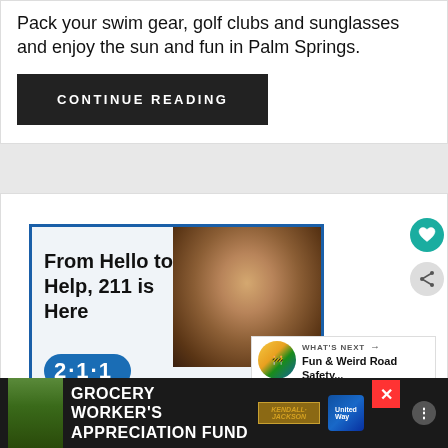Pack your swim gear, golf clubs and sunglasses and enjoy the sun and fun in Palm Springs.
CONTINUE READING
[Figure (screenshot): Advertisement: 211 helpline ad showing elderly man's face and text 'From Hello to Help, 211 is Here' with blue oval showing '2·1·1']
WHAT'S NEXT → Fun & Weird Road Safety...
[Figure (screenshot): Bottom banner advertisement: GROCERY WORKER'S APPRECIATION FUND with Kendall-Jackson and United Way logos]